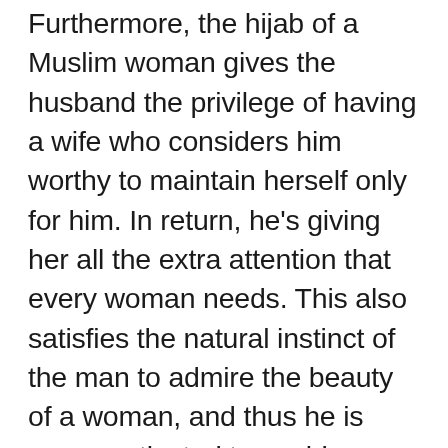Furthermore, the hijab of a Muslim woman gives the husband the privilege of having a wife who considers him worthy to maintain herself only for him. In return, he's giving her all the extra attention that every woman needs. This also satisfies the natural instinct of the man to admire the beauty of a woman, and thus he is more motivated to avoid “checking out” random women and to lower his gaze, since his wife does not allow herself to be regulated and admired by other men. Also branded by so-called Western “relationship experts” as “jealousy,” this kind